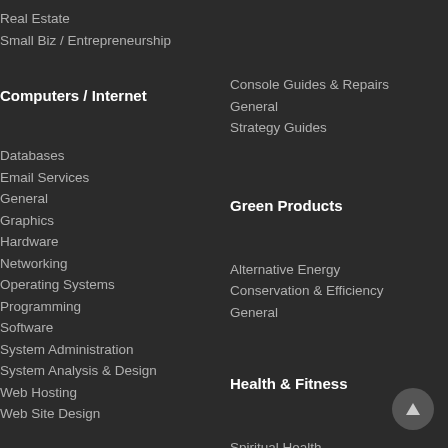Real Estate
Small Biz / Entrepreneurship
Console Guides & Repairs
General
Strategy Guides
Computers / Internet
Databases
Email Services
General
Graphics
Hardware
Networking
Operating Systems
Programming
Software
System Administration
System Analysis & Design
Web Hosting
Web Site Design
Green Products
Alternative Energy
Conservation & Efficiency
General
Health & Fitness
Spiritual Health
Strength Training
Women's Health